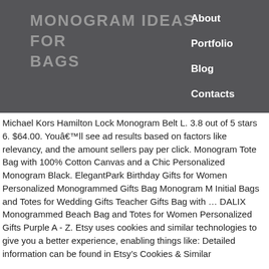MONOGRAM IDEAS FOR BAGS
About
Portfolio
Blog
Contacts
Michael Kors Hamilton Lock Monogram Belt L. 3.8 out of 5 stars 6. $64.00. Youâll see ad results based on factors like relevancy, and the amount sellers pay per click. Monogram Tote Bag with 100% Cotton Canvas and a Chic Personalized Monogram Black. ElegantPark Birthday Gifts for Women Personalized Monogrammed Gifts Bag Monogram M Initial Bags and Totes for Wedding Gifts Teacher Gifts Bag with ... DALIX Monogrammed Beach Bag and Totes for Women Personalized Gifts Purple A - Z. Etsy uses cookies and similar technologies to give you a better experience, enabling things like: Detailed information can be found in Etsy’s Cookies & Similar